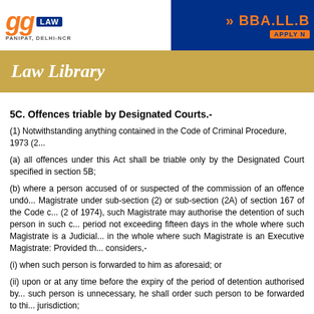GG Institute of Law - PANIPAT, DELHI-NCR | BBA.LL.B APPLY NOW
Law Library
5C. Offences triable by Designated Courts.-
(1) Notwithstanding anything contained in the Code of Criminal Procedure, 1973 (2...
(a) all offences under this Act shall be triable only by the Designated Court specified in section 5B;
(b) where a person accused of or suspected of the commission of an offence under this Act is forwarded to a Magistrate under sub-section (2) or sub-section (2A) of section 167 of the Code of Criminal Procedure, 1973 (2 of 1974), such Magistrate may authorise the detention of such person in such custody as he thinks fit for a period not exceeding fifteen days in the whole where such Magistrate is a Judicial Magistrate or for a period not exceeding seven days in the whole where such Magistrate is an Executive Magistrate: Provided that the Magistrate having jurisdiction considers,-
(i) when such person is forwarded to him as aforesaid; or
(ii) upon or at any time before the expiry of the period of detention authorised by him, if he is satisfied that the detention of such person is unnecessary, he shall order such person to be forwarded to the Designated Court having jurisdiction;
(c) the Designated Court may exercise, in relation to the person forwarded to it on a remand order, all the power which a Magistrate having jurisdiction to try a case may exercise under section 167 of the Code of Criminal Procedure, 1973 (2 of 1974).